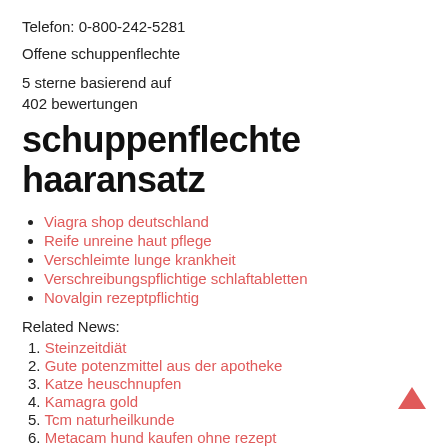Telefon: 0-800-242-5281
Offene schuppenflechte
5 sterne basierend auf
402 bewertungen
schuppenflechte haaransatz
Viagra shop deutschland
Reife unreine haut pflege
Verschleimte lunge krankheit
Verschreibungspflichtige schlaftabletten
Novalgin rezeptpflichtig
Related News:
1. Steinzeitdiät
2. Gute potenzmittel aus der apotheke
3. Katze heuschnupfen
4. Kamagra gold
5. Tcm naturheilkunde
6. Metacam hund kaufen ohne rezept